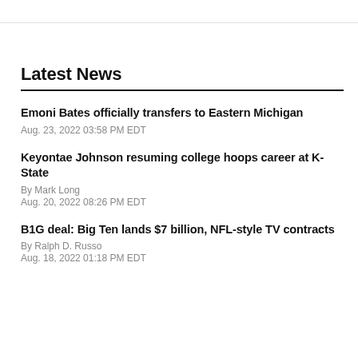Latest News
Emoni Bates officially transfers to Eastern Michigan
Aug. 23, 2022 03:58 PM EDT
Keyontae Johnson resuming college hoops career at K-State
By Mark Long
Aug. 20, 2022 08:26 PM EDT
B1G deal: Big Ten lands $7 billion, NFL-style TV contracts
By Ralph D. Russo
Aug. 18, 2022 01:18 PM EDT